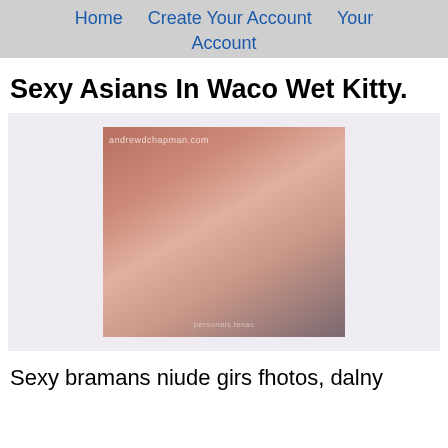Home   Create Your Account   Your Account
Sexy Asians In Waco Wet Kitty.
[Figure (photo): Photo of a woman with red hair, watermarked with 'andrewdchapman.com' and 'personals.texas']
Sexy bramans niude girs fhotos, dalny